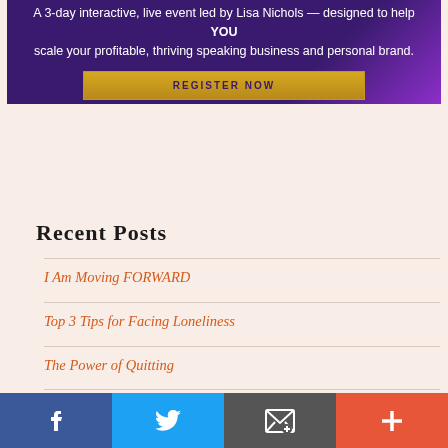[Figure (infographic): Dark purple banner with text and a gold 'REGISTER NOW' button. Text reads: 'A 3-day interactive, live event led by Lisa Nichols — designed to help YOU scale your profitable, thriving speaking business and personal brand.']
Recent Posts
I Am Moving FORWARD
Top 3 Tips for Facing Loneliness
The Power of Quitting
Education vs Emotion in Decision Making
You Don't Live in a Big City, But You Want a Big Business?
[Figure (infographic): Social sharing bar at page bottom with four buttons: Facebook (blue), Twitter (light blue), Email (dark gray), More/Plus (orange-red)]